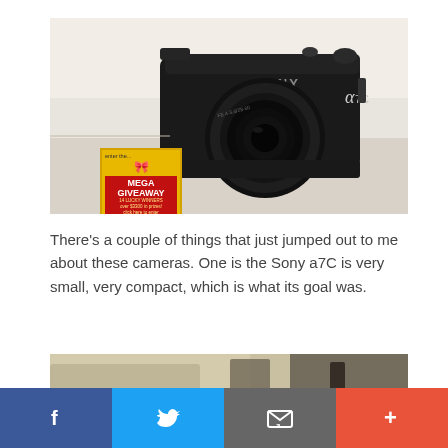[Figure (photo): Sony a7C mirrorless camera sitting on a light-colored surface, black body with lens attached, shot from slightly elevated angle. In the lower left corner overlaid is a 'MEGA GIVEAWAY' advertisement on a gold background.]
There's a couple of things that just jumped out to me about these cameras. One is the Sony a7C is very small, very compact, which is what its goal was.
[Figure (photo): Partial view of a second photo, blurred/out of focus, appears to show objects on a desk.]
f  [Twitter bird icon]  [Email icon]  +